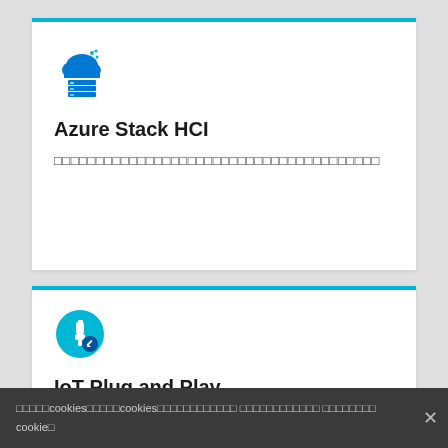[Figure (logo): Azure Stack HCI cloud icon with server/rack element below, in blue]
Azure Stack HCI
□□□□□□□□□□□□□□□□□□□□□□□□□□□□□□□□□□□□□□□
[Figure (logo): IoT Plug and Play icon - circular blue background with white plug/pencil icon]
IoT Plug and Play
□□□□□Azure□□□□。
□□□□□cookies□□□□□cookies□□□□□□□□□□□□ □□□□□□□□□□□□ □□□□□□□□ cookie□